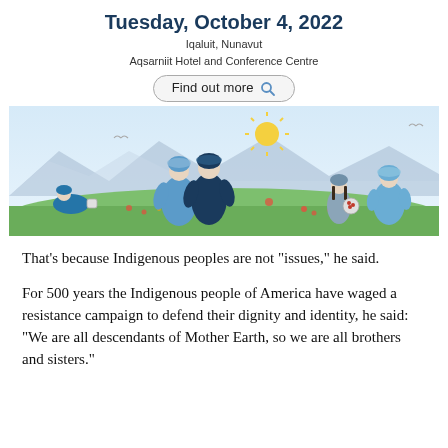Tuesday, October 4, 2022
Iqaluit, Nunavut
Aqsarniit Hotel and Conference Centre
Find out more
[Figure (illustration): Illustrated scene of Indigenous Inuit people in traditional parkas in an Arctic landscape with mountains, green tundra, flowers, and a bright sun. A child crouches picking berries on the left, two adults stand together in the centre, and two children stand on the right, one holding a berry basket.]
That’s because Indigenous peoples are not “issues,” he said.
For 500 years the Indigenous people of America have waged a resistance campaign to defend their dignity and identity, he said: “We are all descendants of Mother Earth, so we are all brothers and sisters.”